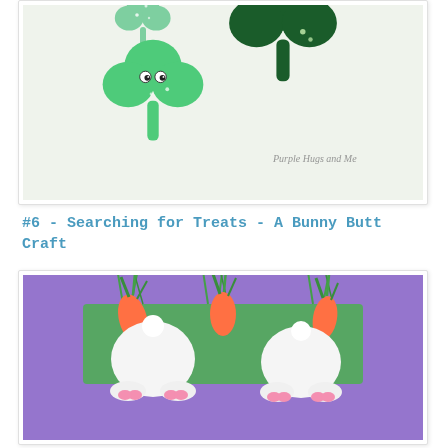[Figure (photo): Photo of several green shamrock/clover shaped crafts (clay or dough) with decorative beads and googly eyes, on a white surface. Watermark reads 'Purple Hugs and Me'.]
#6 - Searching for Treats - A Bunny Butt Craft
[Figure (photo): Photo of white bunny butt craft figures with pink paw pads, surrounded by orange carrot props with green tops, displayed on purple fabric with green grass.]